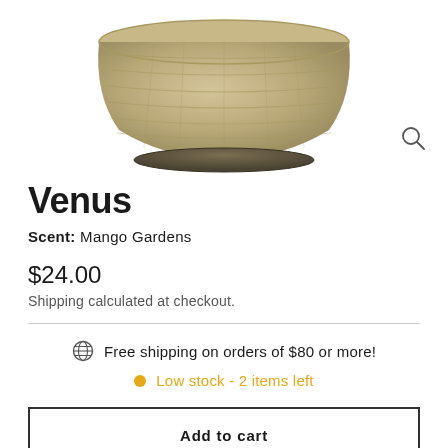[Figure (photo): A tan/beige ribbed ceramic candle bowl jar viewed from slightly above, with a magnifying glass icon in the upper right corner]
Venus
Scent: Mango Gardens
$24.00
Shipping calculated at checkout.
Free shipping on orders of $80 or more!
Low stock - 2 items left
Add to cart